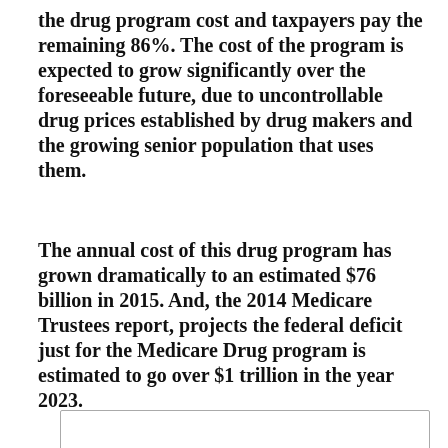the drug program cost and taxpayers pay the remaining 86%. The cost of the program is expected to grow significantly over the foreseeable future, due to uncontrollable drug prices established by drug makers and the growing senior population that uses them.
The annual cost of this drug program has grown dramatically to an estimated $76 billion in 2015. And, the 2014 Medicare Trustees report, projects the federal deficit just for the Medicare Drug program is estimated to go over $1 trillion in the year 2023.
[Figure (other): Empty bordered box at the bottom of the page, partially visible]